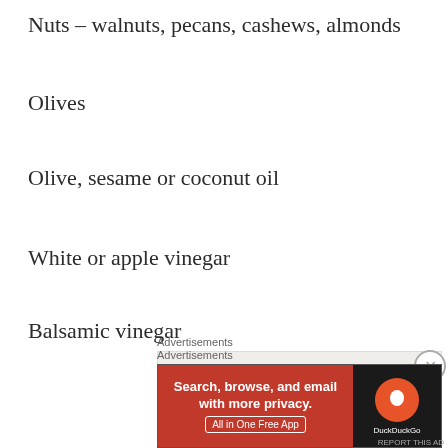Nuts – walnuts, pecans, cashews, almonds
Olives
Olive, sesame or coconut oil
White or apple vinegar
Balsamic vinegar
[Figure (screenshot): Advertisement banner showing 'Business in' text on light beige background]
[Figure (screenshot): DuckDuckGo advertisement: 'Search, browse, and email with more privacy. All in One Free App' on red and black background with DuckDuckGo logo]